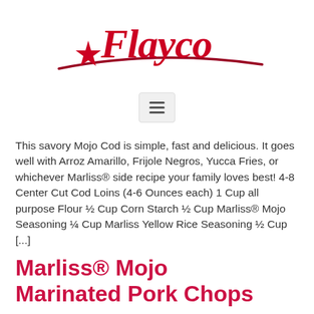[Figure (logo): Flayco brand logo in red cursive script with a red star and swoosh underline]
[Figure (other): Hamburger menu icon (three horizontal lines) in a light gray rounded rectangle button]
This savory Mojo Cod is simple, fast and delicious. It goes well with Arroz Amarillo, Frijole Negros, Yucca Fries, or whichever Marliss® side recipe your family loves best! 4-8 Center Cut Cod Loins (4-6 Ounces each) 1 Cup all purpose Flour ½ Cup Corn Starch ½ Cup Marliss® Mojo Seasoning ¼ Cup Marliss Yellow Rice Seasoning ½ Cup [...]
Marliss® Mojo Marinated Pork Chops